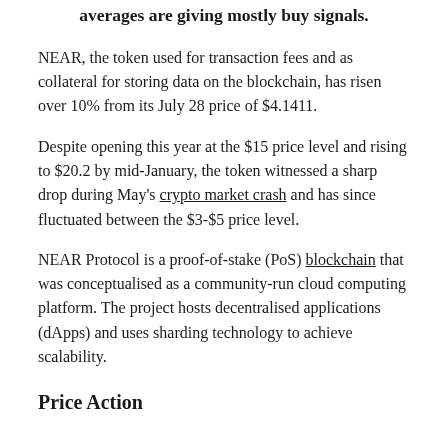averages are giving mostly buy signals.
NEAR, the token used for transaction fees and as collateral for storing data on the blockchain, has risen over 10% from its July 28 price of $4.1411.
Despite opening this year at the $15 price level and rising to $20.2 by mid-January, the token witnessed a sharp drop during May's crypto market crash and has since fluctuated between the $3-$5 price level.
NEAR Protocol is a proof-of-stake (PoS) blockchain that was conceptualised as a community-run cloud computing platform. The project hosts decentralised applications (dApps) and uses sharding technology to achieve scalability.
Price Action